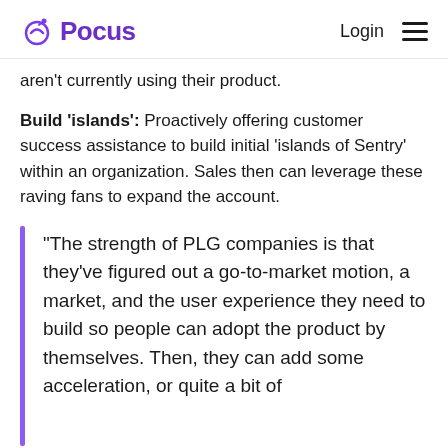Pocus | Login
aren't currently using their product.
Build 'islands': Proactively offering customer success assistance to build initial 'islands of Sentry' within an organization. Sales then can leverage these raving fans to expand the account.
“The strength of PLG companies is that they’ve figured out a go-to-market motion, a market, and the user experience they need to build so people can adopt the product by themselves. Then, they can add some acceleration, or quite a bit of